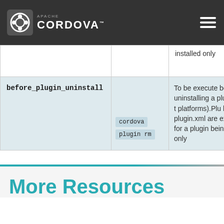Apache Cordova
| Hook | Cordova Commands | Description |
| --- | --- | --- |
|  |  | installed only |
| before_plugin_uninstall | cordova
plugin rm | To be executed before uninstalling a plugin (from the platforms). Plugin hooks in plugin.xml are executed for a plugin being installed only |
More Resources